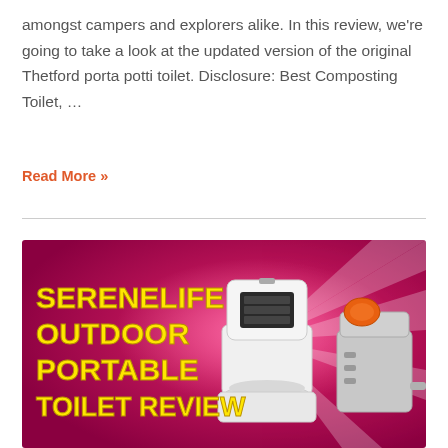amongst campers and explorers alike. In this review, we're going to take a look at the updated version of the original Thetford porta potti toilet. Disclosure: Best Composting Toilet, …
Read More »
[Figure (photo): Promotional banner image with magenta/pink starburst background showing two portable camping toilets (SereneLife brand). Bold yellow text on the left reads 'SERENELIFE OUTDOOR PORTABLE TOILET REVIEW'.]